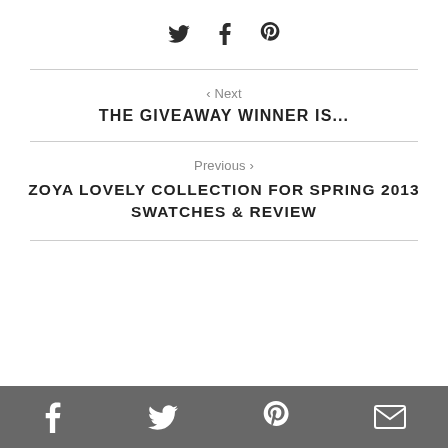[Figure (other): Social share icons: Twitter bird, Facebook f, Pinterest p]
‹ Next
THE GIVEAWAY WINNER IS...
Previous ›
ZOYA LOVELY COLLECTION FOR SPRING 2013 SWATCHES & REVIEW
Footer social icons: Facebook, Twitter, Pinterest, Email